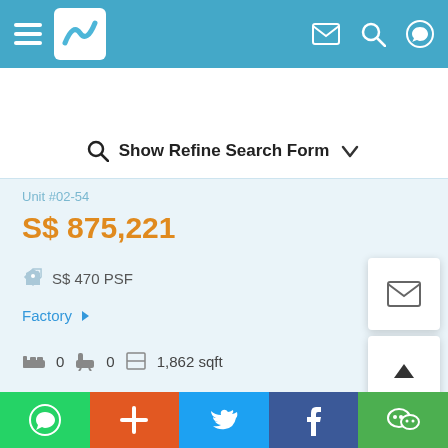[Figure (screenshot): Navigation bar with hamburger menu, logo, email, search, and WhatsApp icons on teal background]
Show Refine Search Form
Unit #02-54
S$ 875,221
S$ 470 PSF
Factory
0  0  1,862 sqft
[Figure (screenshot): Social share bar with WhatsApp, plus, Twitter, Facebook, WeChat icons]